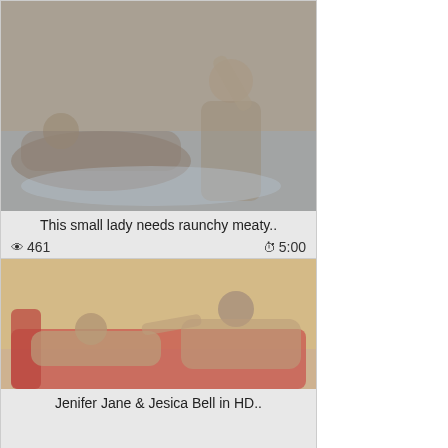[Figure (photo): Video thumbnail image showing two figures, grayscale/muted tones, on a bed or surface]
This small lady needs raunchy meaty..
👁 461   ⏱ 5:00
[Figure (photo): Video thumbnail image showing two women on a red couch/sofa, warm toned]
Jenifer Jane & Jesica Bell in HD..